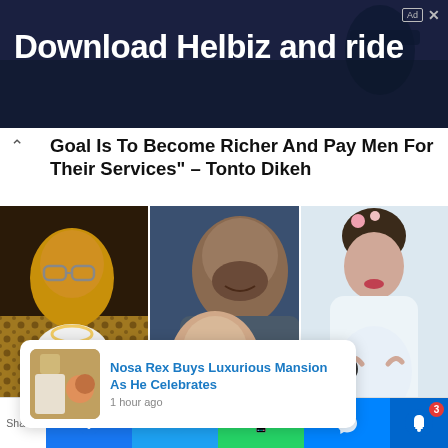[Figure (screenshot): Advertisement banner for Helbiz with dark blue/navy background and white bold text reading 'Download Helbiz and ride']
Goal Is To Become Richer And Pay Men For Their Services" – Tonto Dikeh
[Figure (photo): Three photos side by side: left shows a man in leopard print jacket with glasses; middle shows a man and baby smiling together; right shows a pregnant woman in white dress]
Nosa Rex Buys Luxurious Mansion As He Celebrates
1 hour ago
Shares
Social share buttons: Facebook, Twitter, WhatsApp, Messenger